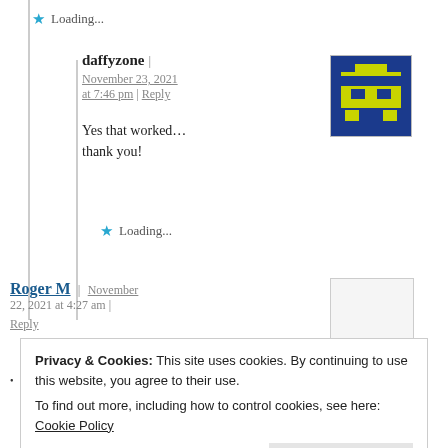★ Loading...
daffyzone | November 23, 2021 at 7:46 pm | Reply
[Figure (illustration): Pixel art avatar for daffyzone: blue background with yellow/green robot-like character]
Yes that worked…
thank you!
★ Loading...
Roger M | November 22, 2021 at 4:27 am | Reply
[Figure (illustration): Blank/empty avatar placeholder for Roger M]
Privacy & Cookies: This site uses cookies. By continuing to use this website, you agree to their use.
To find out more, including how to control cookies, see here: Cookie Policy
Close and accept